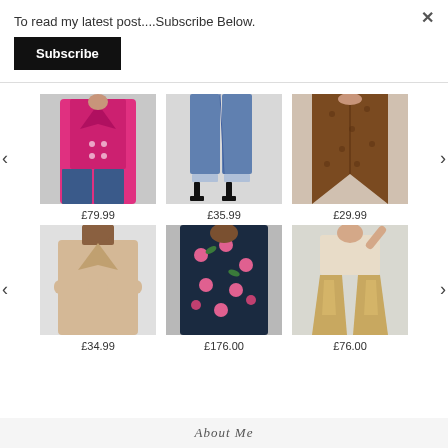To read my latest post....Subscribe Below.
Subscribe
[Figure (photo): Pink double-breasted blazer worn with jeans]
[Figure (photo): Blue jeans with black heels]
[Figure (photo): Brown floral wrap dress]
£79.99
£35.99
£29.99
[Figure (photo): Woman in beige blazer with arms crossed]
[Figure (photo): Dark floral maxi dress with pink flowers]
[Figure (photo): Woman in gold metallic wide-leg trousers]
£34.99
£176.00
£76.00
About Me